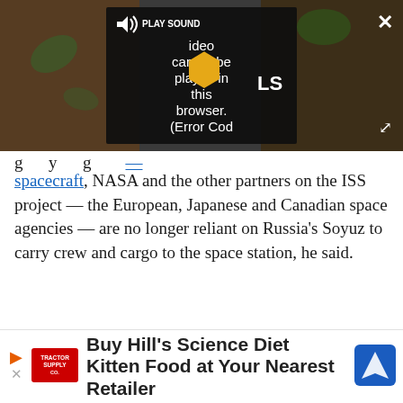[Figure (screenshot): Video player overlay showing error message: 'Video cannot be played in this browser. (Error Cod' with a PLAY SOUND button, an LS logo badge, an X close button, and an expand button. Background shows a partial thumbnail of dirt/ground.]
...g...y...g...spacecraft, NASA and the other partners on the ISS project — the European, Japanese and Canadian space agencies — are no longer reliant on Russia's Soyuz to carry crew and cargo to the space station, he said.
Advertisement
[Figure (screenshot): Advertisement banner at the bottom: 'Buy Hill's Science Diet Kitten Food at Your Nearest Retailer' with Tractor Supply Co. logo on the left and a blue navigation/map icon on the right.]